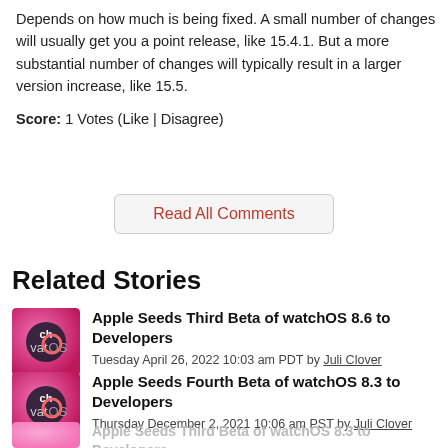Depends on how much is being fixed. A small number of changes will usually get you a point release, like 15.4.1. But a more substantial number of changes will typically result in a larger version increase, like 15.5.
Score: 1 Votes (Like | Disagree)
Read All Comments
Related Stories
Apple Seeds Third Beta of watchOS 8.6 to Developers
Tuesday April 26, 2022 10:03 am PDT by Juli Clover
Apple Seeds Fourth Beta of watchOS 8.3 to Developers
Thursday December 2, 2021 10:06 am PST by Juli Clover
Apple Seeds Third Beta of watchOS 8.3 to Developers